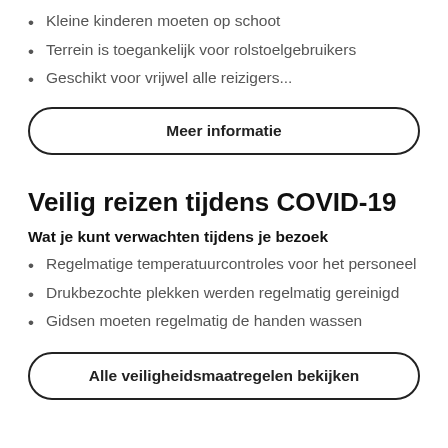Kleine kinderen moeten op schoot
Terrein is toegankelijk voor rolstoelgebruikers
Geschikt voor vrijwel alle reizigers...
Meer informatie
Veilig reizen tijdens COVID-19
Wat je kunt verwachten tijdens je bezoek
Regelmatige temperatuurcontroles voor het personeel
Drukbezochte plekken werden regelmatig gereinigd
Gidsen moeten regelmatig de handen wassen
Alle veiligheidsmaatregelen bekijken